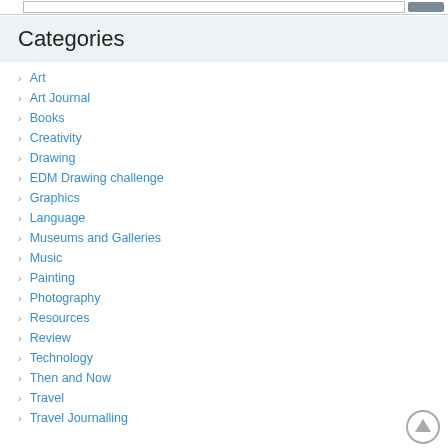Categories
Art
Art Journal
Books
Creativity
Drawing
EDM Drawing challenge
Graphics
Language
Museums and Galleries
Music
Painting
Photography
Resources
Review
Technology
Then and Now
Travel
Travel Journalling